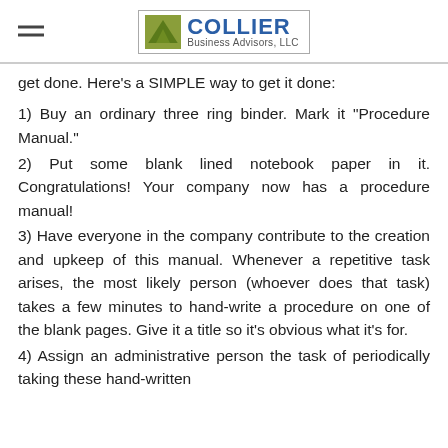Collier Business Advisors, LLC
get done. Here's a SIMPLE way to get it done:
1) Buy an ordinary three ring binder. Mark it "Procedure Manual."
2) Put some blank lined notebook paper in it. Congratulations! Your company now has a procedure manual!
3) Have everyone in the company contribute to the creation and upkeep of this manual. Whenever a repetitive task arises, the most likely person (whoever does that task) takes a few minutes to hand-write a procedure on one of the blank pages. Give it a title so it's obvious what it's for.
4) Assign an administrative person the task of periodically taking these hand-written